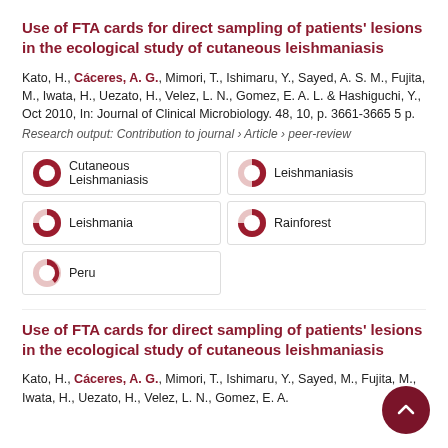Use of FTA cards for direct sampling of patients' lesions in the ecological study of cutaneous leishmaniasis
Kato, H., Cáceres, A. G., Mimori, T., Ishimaru, Y., Sayed, A. S. M., Fujita, M., Iwata, H., Uezato, H., Velez, L. N., Gomez, E. A. L. & Hashiguchi, Y., Oct 2010, In: Journal of Clinical Microbiology. 48, 10, p. 3661-3665 5 p.
Research output: Contribution to journal › Article › peer-review
[Figure (infographic): Five keyword badges with pie-chart icons showing relative percentages: Cutaneous Leishmaniasis (100%), Leishmaniasis (~55%), Leishmania (~50%), Rainforest (~50%), Peru (~30%)]
Use of FTA cards for direct sampling of patients' lesions in the ecological study of cutaneous leishmaniasis
Kato, H., Cáceres, A. G., Mimori, T., Ishimaru, Y., Sayed, M., Fujita, M., Iwata, H., Uezato, H., Velez, L. N., Gomez, E. A.